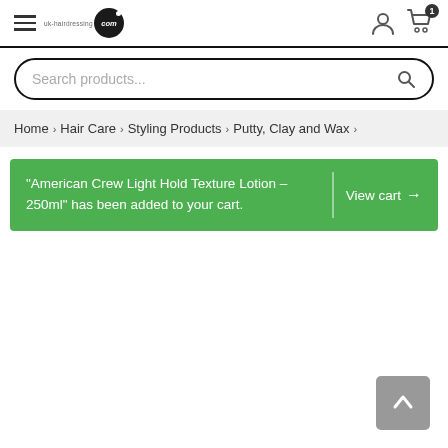Navigation bar with hamburger menu, uk-hairdressing.com logo, user icon, and cart icon with badge '1'
Search products...
Home > Hair Care > Styling Products > Putty, Clay and Wax >
"American Crew Light Hold Texture Lotion – 250ml" has been added to your cart. | View cart →
[Figure (other): Back to top button (grey square with upward chevron arrow)]